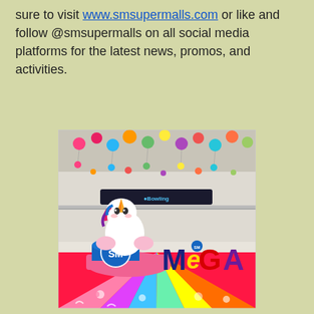sure to visit www.smsupermalls.com or like and follow @smsupermalls on all social media platforms for the latest news, promos, and activities.
[Figure (photo): Interior of SM Mega Mall showing a large unicorn mascot display with SM branding, colorful MEGA lettering, a bright pink/multicolor floor, and colorful balloon decorations hanging from the ceiling.]